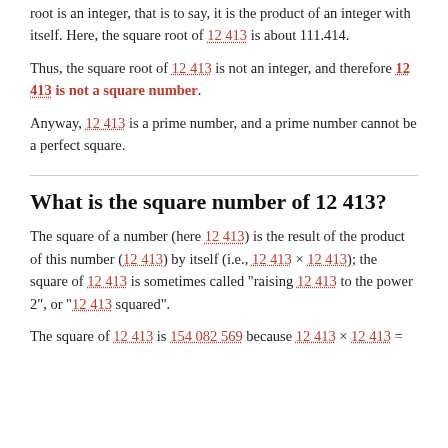root is an integer, that is to say, it is the product of an integer with itself. Here, the square root of 12 413 is about 111.414.
Thus, the square root of 12 413 is not an integer, and therefore 12 413 is not a square number.
Anyway, 12 413 is a prime number, and a prime number cannot be a perfect square.
What is the square number of 12 413?
The square of a number (here 12 413) is the result of the product of this number (12 413) by itself (i.e., 12 413 × 12 413); the square of 12 413 is sometimes called "raising 12 413 to the power 2", or "12 413 squared".
The square of 12 413 is 154 082 569 because 12 413 × 12 413 =